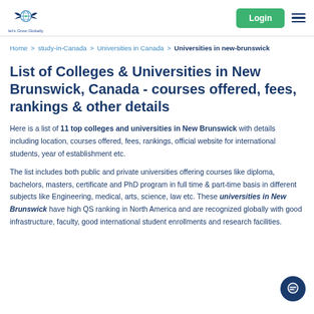Let's Grow Globally - Login - Menu
Home > study-in-Canada > Universities in Canada > Universities in new-brunswick
List of Colleges & Universities in New Brunswick, Canada - courses offered, fees, rankings & other details
Here is a list of 11 top colleges and universities in New Brunswick with details including location, courses offered, fees, rankings, official website for international students, year of establishment etc.
The list includes both public and private universities offering courses like diploma, bachelors, masters, certificate and PhD program in full time & part-time basis in different subjects like Engineering, medical, arts, science, law etc. These universities in New Brunswick have high QS ranking in North America and are recognized globally with good infrastructure, faculty, good international student enrollments and research facilities.